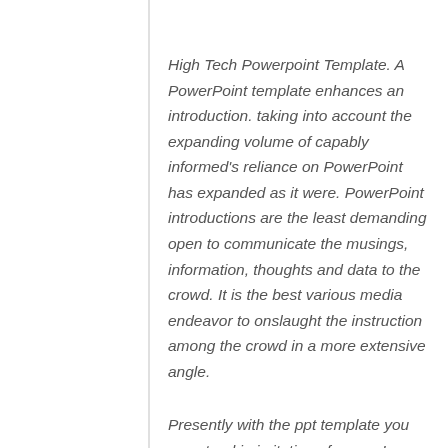High Tech Powerpoint Template. A PowerPoint template enhances an introduction. taking into account the expanding volume of capably informed's reliance on PowerPoint has expanded as it were. PowerPoint introductions are the least demanding open to communicate the musings, information, thoughts and data to the crowd. It is the best various media endeavor to onslaught the instruction among the crowd in a more extensive angle.
Presently with the ppt template you can stand in imitation of an ace! Utilizing ppt High Tech Powerpoint Template can present an